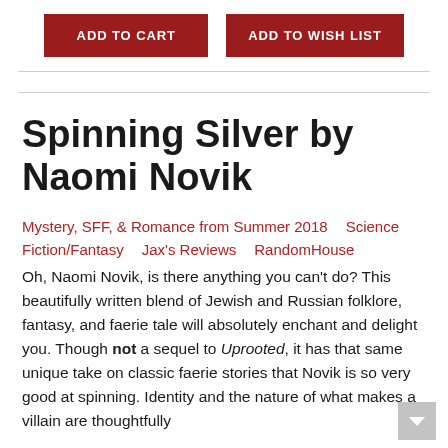[Figure (other): Two red buttons: ADD TO CART and ADD TO WISH LIST]
Spinning Silver by Naomi Novik
Mystery, SFF, & Romance from Summer 2018    Science Fiction/Fantasy    Jax's Reviews    RandomHouse
Oh, Naomi Novik, is there anything you can't do? This beautifully written blend of Jewish and Russian folklore, fantasy, and faerie tale will absolutely enchant and delight you. Though not a sequel to Uprooted, it has that same unique take on classic faerie stories that Novik is so very good at spinning. Identity and the nature of what makes a villain are thoughtfully